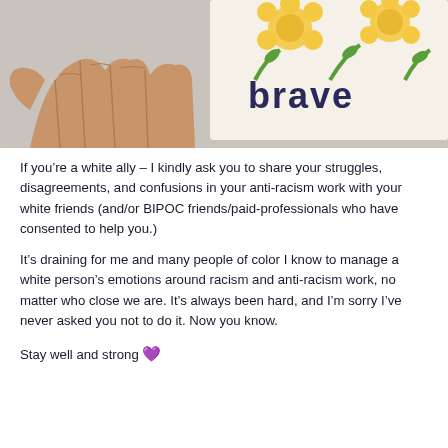[Figure (photo): A hand holding a card with 'brave' written in dark letters on a floral background with yellow flowers and green leaves]
If you're a white ally – I kindly ask you to share your struggles, disagreements, and confusions in your anti-racism work with your white friends (and/or BIPOC friends/paid-professionals who have consented to help you.)
It's draining for me and many people of color I know to manage a white person's emotions around racism and anti-racism work, no matter who close we are. It's always been hard, and I'm sorry I've never asked you not to do it. Now you know.
Stay well and strong 💜